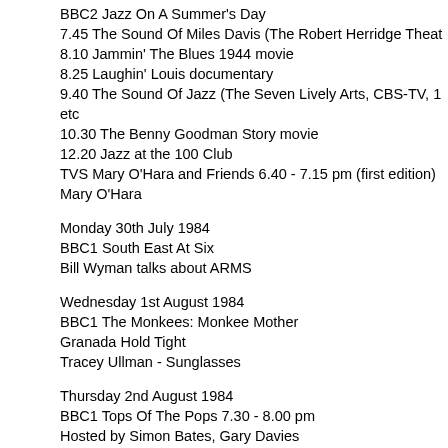BBC2 Jazz On A Summer's Day
7.45 The Sound Of Miles Davis (The Robert Herridge Theat…
8.10 Jammin' The Blues 1944 movie
8.25 Laughin' Louis documentary
9.40 The Sound Of Jazz (The Seven Lively Arts, CBS-TV, 1… etc
10.30 The Benny Goodman Story movie
12.20 Jazz at the 100 Club
TVS Mary O'Hara and Friends 6.40 - 7.15 pm (first edition) Mary O'Hara
Monday 30th July 1984
BBC1 South East At Six
Bill Wyman talks about ARMS
Wednesday 1st August 1984
BBC1 The Monkees: Monkee Mother
Granada Hold Tight
Tracey Ullman - Sunglasses
Thursday 2nd August 1984
BBC1 Tops Of The Pops 7.30 - 8.00 pm
Hosted by Simon Bates, Gary Davies
Black Lace - Agadoo
Prince - When Doves Cry (Purple Rain movie clip)